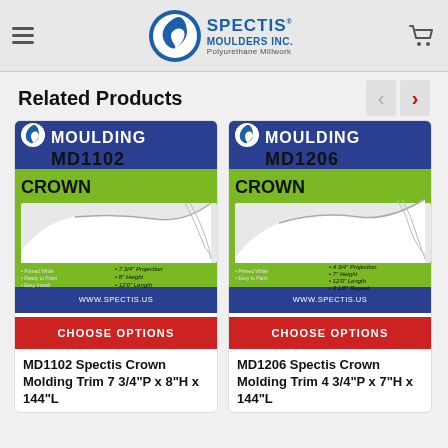Spectis Moulders Inc. — Polyurethane Millwork
Related Products
[Figure (photo): Product image for MD1102 Crown Moulding — green and blue background showing crown molding profile with specs: 7 3/4" Projection, 8" Height, 12'0" Length]
CHOOSE OPTIONS
MD1102 Spectis Crown Molding Trim 7 3/4"P x 8"H x 144"L
[Figure (photo): Product image for MD1206 Crown Moulding — green and blue background showing crown molding profile with specs: 4 3/4" Projection, 7" Height, 12'0" Length, 3 1/8" Repeat]
CHOOSE OPTIONS
MD1206 Spectis Crown Molding Trim 4 3/4"P x 7"H x 144"L